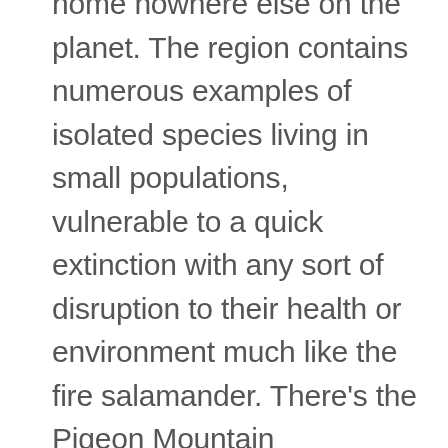home nowhere else on the planet. The region contains numerous examples of isolated species living in small populations, vulnerable to a quick extinction with any sort of disruption to their health or environment much like the fire salamander. There's the Pigeon Mountain salamander, for example, endemic to a single mountaintop in the state of Georgia, and the Black Warrior waterdog, found only within the Black Warrior River Basin in Alabama. There's also the South Mountain gray-cheeked salamander, the Peaks of Otter salamander, the Caddo Mountain